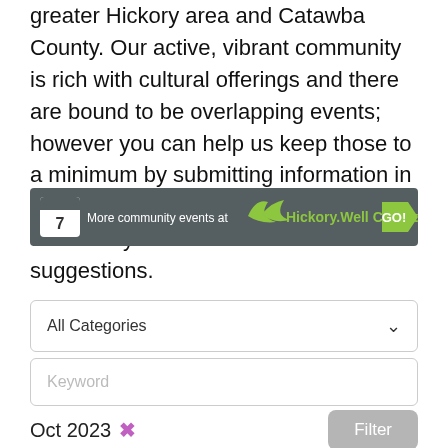greater Hickory area and Catawba County. Our active, vibrant community is rich with cultural offerings and there are bound to be overlapping events; however you can help us keep those to a minimum by submitting information in a timely manner. We would also welcome your comments and suggestions.
[Figure (infographic): Dark grey banner with calendar icon showing '7', text 'More community events at', Hickory Well Crafted logo with green leaf, and green arrow-shaped GO! button]
All Categories
Keyword
Oct 2023 ✕
Filter